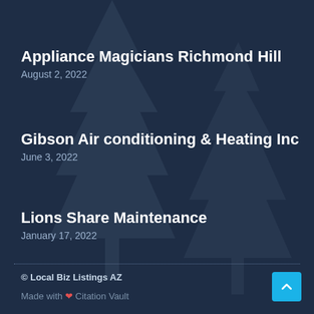Appliance Magicians Richmond Hill
August 2, 2022
Gibson Air conditioning & Heating Inc
June 3, 2022
Lions Share Maintenance
January 17, 2022
© Local Biz Listings AZ
Made with ♥ Citation Vault